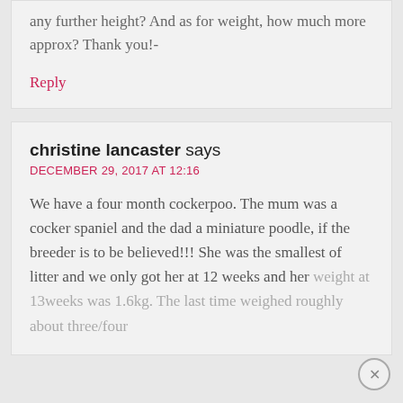any further height? And as for weight, how much more approx? Thank you!-
Reply
christine lancaster says
DECEMBER 29, 2017 AT 12:16
We have a four month cockerpoo. The mum was a cocker spaniel and the dad a miniature poodle, if the breeder is to be believed!!! She was the smallest of litter and we only got her at 12 weeks and her weight at 13weeks was 1.6kg. The last time weighed roughly about three/four